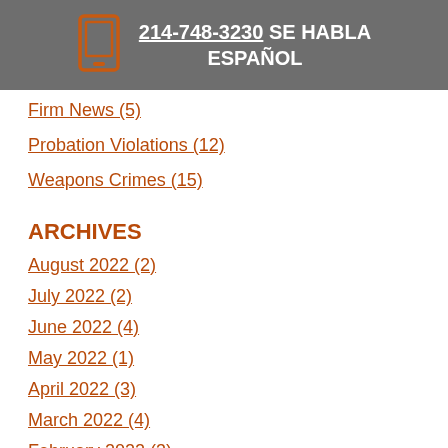214-748-3230 SE HABLA ESPAÑOL
Firm News (5)
Probation Violations (12)
Weapons Crimes (15)
ARCHIVES
August 2022 (2)
July 2022 (2)
June 2022 (4)
May 2022 (1)
April 2022 (3)
March 2022 (4)
February 2022 (3)
January 2022 (3)